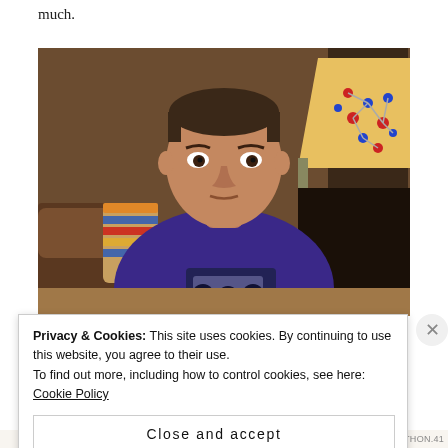much.
[Figure (photo): A man wearing a purple t-shirt with a graphic print sits on a couch in a living room. Behind him is a lamp and a decorative item. He has a neutral/serious expression.]
Privacy & Cookies: This site uses cookies. By continuing to use this website, you agree to their use.
To find out more, including how to control cookies, see here: Cookie Policy
Close and accept